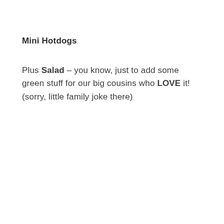Mini Hotdogs
Plus Salad – you know, just to add some green stuff for our big cousins who LOVE it! (sorry, little family joke there)